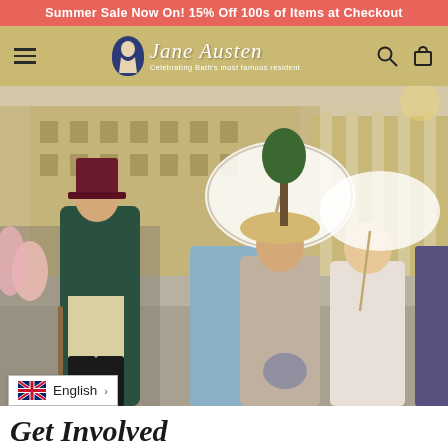Summer Sale Now On! 15% Off 100s of Items at Checkout
[Figure (logo): Jane Austen logo with blue oval silhouette cameo and cursive script text 'Jane Austen — Celebrating Bath's most famous resident' on a gold/tan navigation bar with hamburger menu, search and cart icons]
[Figure (photo): Group of people dressed in Regency-era costumes walking in a sunny Bath city square. A man in a dark teal coat and burgundy top hat leads the procession, accompanied by women in period dresses carrying white lace parasols, set against Georgian stone buildings.]
English
Get Involved